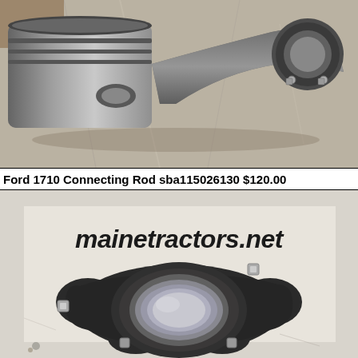[Figure (photo): Photo of a Ford 1710 connecting rod and piston assembly laid on a silver metallic surface, showing the connecting rod with piston and rings]
Ford 1710 Connecting Rod sba115026130 $120.00
[Figure (photo): Photo of the bottom end (big end) of the Ford 1710 connecting rod assembly, showing the bearing cap and bearing shell, laid on a white surface with 'mainetractors.net' text visible]